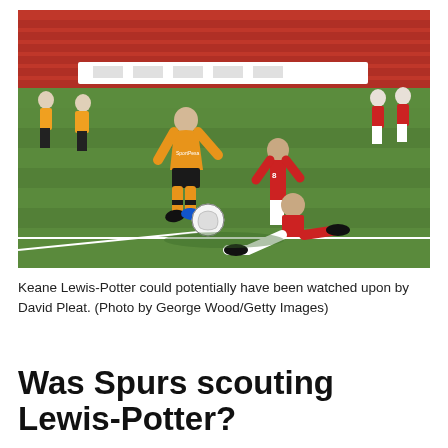[Figure (photo): Football match action photo showing a Hull City player in orange/black kit dribbling with the ball while being challenged by Rotherham United players in red/white kit. Stadium seats visible in background, green pitch in foreground.]
Keane Lewis-Potter could potentially have been watched upon by David Pleat. (Photo by George Wood/Getty Images)
Was Spurs scouting Lewis-Potter?